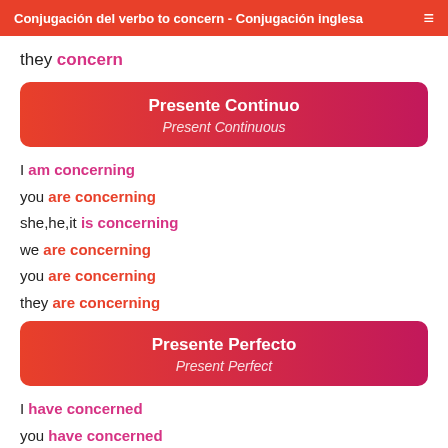Conjugación del verbo to concern - Conjugación inglesa
they concern
Presente Continuo
Present Continuous
I am concerning
you are concerning
she,he,it is concerning
we are concerning
you are concerning
they are concerning
Presente Perfecto
Present Perfect
I have concerned
you have concerned
she,he,it has concerned
we have concerned